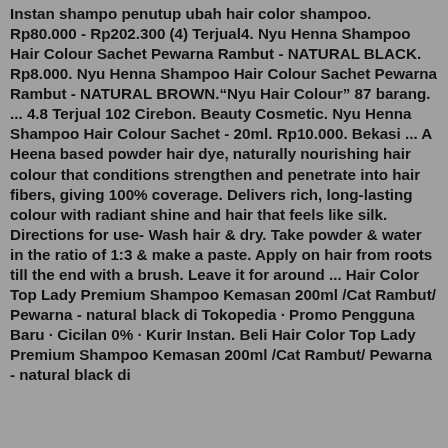Instan shampo penutup ubah hair color shampoo. Rp80.000 - Rp202.300 (4) Terjual4. Nyu Henna Shampoo Hair Colour Sachet Pewarna Rambut - NATURAL BLACK. Rp8.000. Nyu Henna Shampoo Hair Colour Sachet Pewarna Rambut - NATURAL BROWN.“Nyu Hair Colour” 87 barang. ... 4.8 Terjual 102 Cirebon. Beauty Cosmetic. Nyu Henna Shampoo Hair Colour Sachet - 20ml. Rp10.000. Bekasi ... A Heena based powder hair dye, naturally nourishing hair colour that conditions strengthen and penetrate into hair fibers, giving 100% coverage. Delivers rich, long-lasting colour with radiant shine and hair that feels like silk. Directions for use- Wash hair & dry. Take powder & water in the ratio of 1:3 & make a paste. Apply on hair from roots till the end with a brush. Leave it for around ... Hair Color Top Lady Premium Shampoo Kemasan 200ml /Cat Rambut/ Pewarna - natural black di Tokopedia · Promo Pengguna Baru · Cicilan 0% · Kurir Instan. Beli Hair Color Top Lady Premium Shampoo Kemasan 200ml /Cat Rambut/ Pewarna - natural black di